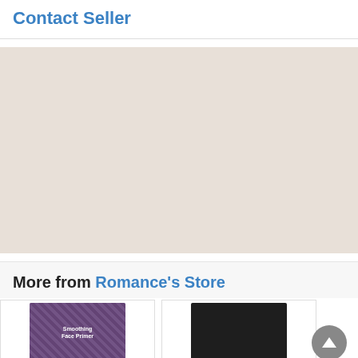Contact Seller
[Figure (other): Advertisement placeholder area with beige/tan background]
More from Romance's Store
[Figure (photo): Product image - Smoothing Face Primer with purple/floral packaging]
[Figure (photo): Product image - dark colored product]